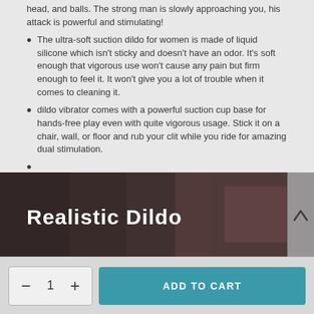head, and balls. The strong man is slowly approaching you, his attack is powerful and stimulating!
The ultra-soft suction dildo for women is made of liquid silicone which isn't sticky and doesn't have an odor. It's soft enough that vigorous use won't cause any pain but firm enough to feel it. It won't give you a lot of trouble when it comes to cleaning it.
dildo vibrator comes with a powerful suction cup base for hands-free play even with quite vigorous usage. Stick it on a chair, wall, or floor and rub your clit while you ride for amazing dual stimulation.
[Figure (photo): Product image banner labeled 'Realistic Dildo' with a close-up photo background and a chevron/up-arrow button on the right side]
ADD TO CART